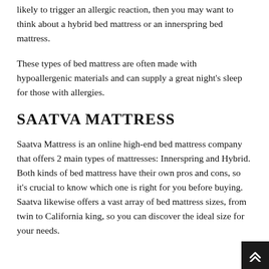If you are looking for the b mattress that is less likely to trigger an allergic reaction, then you may want to think about a hybrid bed mattress or an innerspring bed mattress.
These types of bed mattress are often made with hypoallergenic materials and can supply a great night's sleep for those with allergies.
SAATVA MATTRESS
Saatva Mattress is an online high-end bed mattress company that offers 2 main types of mattresses: Innerspring and Hybrid. Both kinds of bed mattress have their own pros and cons, so it's crucial to know which one is right for you before buying. Saatva likewise offers a vast array of bed mattress sizes, from twin to California king, so you can discover the ideal size for your needs.